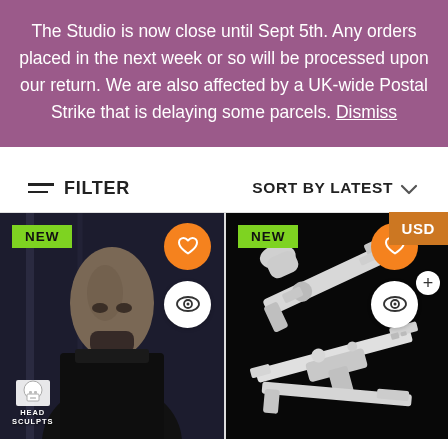The Studio is now close until Sept 5th. Any orders placed in the next week or so will be processed upon our return. We are also affected by a UK-wide Postal Strike that is delaying some parcels. Dismiss
FILTER
SORT BY LATEST
USD
[Figure (photo): Product card 1: alien/creature head sculpt figure wearing dark robes, with NEW badge, heart icon (orange circle), and eye icon (white circle). Head Sculpts logo watermark at bottom left.]
[Figure (photo): Product card 2: white resin gun/weapon sculpts on black background, with NEW badge, heart icon (orange circle), eye icon (white circle), and plus icon.]